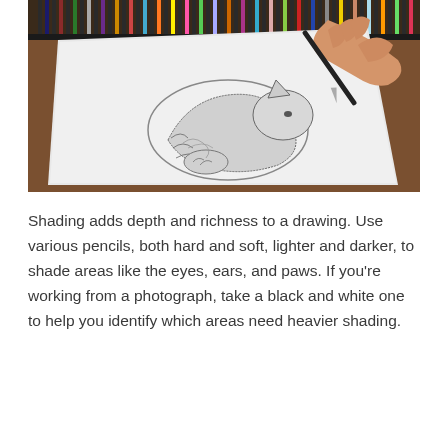[Figure (photo): A person's hand holding a pencil and drawing a sleeping cat on white paper. Behind the paper are rows of colored pencils arranged in a tray on a wooden surface.]
Shading adds depth and richness to a drawing. Use various pencils, both hard and soft, lighter and darker, to shade areas like the eyes, ears, and paws. If you're working from a photograph, take a black and white one to help you identify which areas need heavier shading.